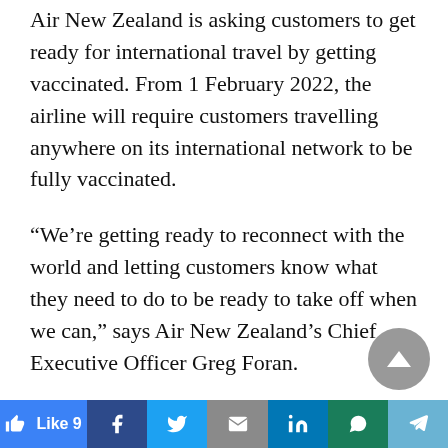Air New Zealand is asking customers to get ready for international travel by getting vaccinated. From 1 February 2022, the airline will require customers travelling anywhere on its international network to be fully vaccinated.
“We’re getting ready to reconnect with the world and letting customers know what they need to do to be ready to take off when we can,” says Air New Zealand’s Chief Executive Officer Greg Foran.
“Being vaccinated against COVID-19 is the new reality of international travel –many of the